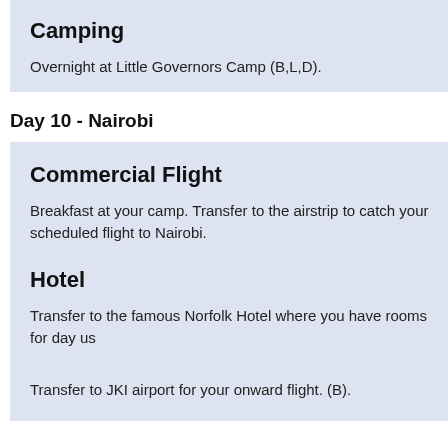Camping
Overnight at Little Governors Camp (B,L,D).
Day 10 - Nairobi
Commercial Flight
Breakfast at your camp. Transfer to the airstrip to catch your scheduled flight to Nairobi.
Hotel
Transfer to the famous Norfolk Hotel where you have rooms for day us…
Transfer to JKI airport for your onward flight. (B).